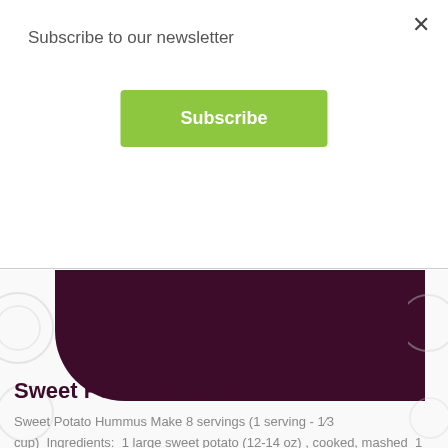Subscribe to our newsletter
Subscribe
Sweet Potato Hummus
Sweet Potato Hummus Make 8 servings (1 serving - 1⁄3 cup)  Ingredients:  1 large sweet potato (12-14 oz) , cooked, mashed  1 can (15 oz) chickpeas, drained, rinsed  ¼ cup tahini  ¼ cup fresh lemon, juiced  3 tbsp. organic avocado oil  1 small clove garlic, halved  1.5 tsp ground cumin  ½ tsp